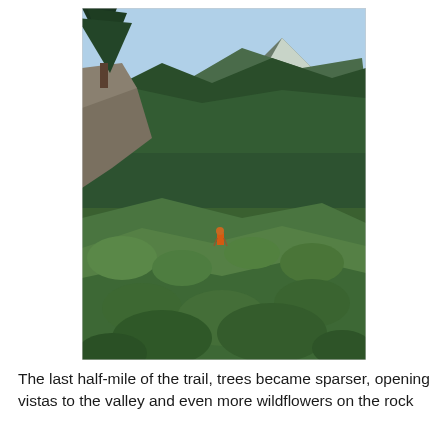[Figure (photo): A mountain hiking trail winding along a steep hillside covered in lush green shrubs and trees. A lone hiker in an orange jacket is visible in the middle distance on the narrow dirt path. The background shows a densely forested mountain slope under a clear blue sky, with a rocky peak visible in the upper right.]
The last half-mile of the trail, trees became sparser, opening vistas to the valley and even more wildflowers on the rock